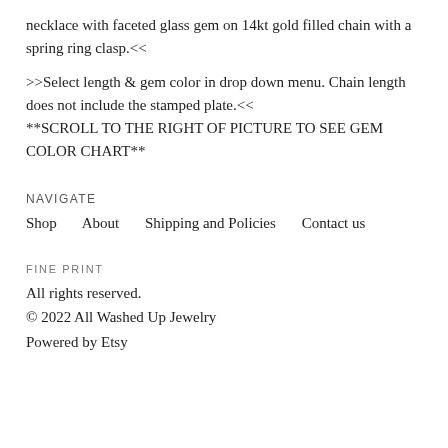necklace with faceted glass gem on 14kt gold filled chain with a spring ring clasp.<<
>>Select length & gem color in drop down menu. Chain length does not include the stamped plate.<< **SCROLL TO THE RIGHT OF PICTURE TO SEE GEM COLOR CHART**
NAVIGATE
Shop    About    Shipping and Policies    Contact us
FINE PRINT
All rights reserved.
© 2022 All Washed Up Jewelry
Powered by Etsy